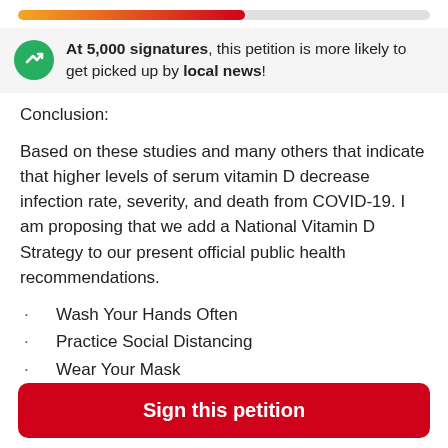[Figure (infographic): Progress bar showing petition signature progress, gradient from orange to red, partially filled]
At 5,000 signatures, this petition is more likely to get picked up by local news!
Conclusion:
Based on these studies and many others that indicate that higher levels of serum vitamin D decrease infection rate, severity, and death from COVID-19. I am proposing that we add a National Vitamin D Strategy to our present official public health recommendations.
Wash Your Hands Often
Practice Social Distancing
Wear Your Mask
Know Your Vitamin D Score (Blood Levels)
Commit to Raising Your Score to Levels of 60
Sign this petition